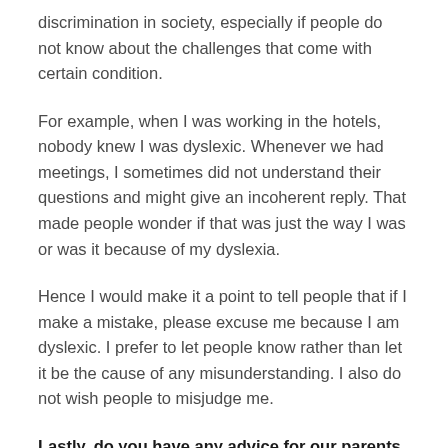discrimination in society, especially if people do not know about the challenges that come with certain condition.
For example, when I was working in the hotels, nobody knew I was dyslexic. Whenever we had meetings, I sometimes did not understand their questions and might give an incoherent reply. That made people wonder if that was just the way I was or was it because of my dyslexia.
Hence I would make it a point to tell people that if I make a mistake, please excuse me because I am dyslexic. I prefer to let people know rather than let it be the cause of any misunderstanding. I also do not wish people to misjudge me.
Lastly, do you have any advice for our parents on how they can better communicate with or relate